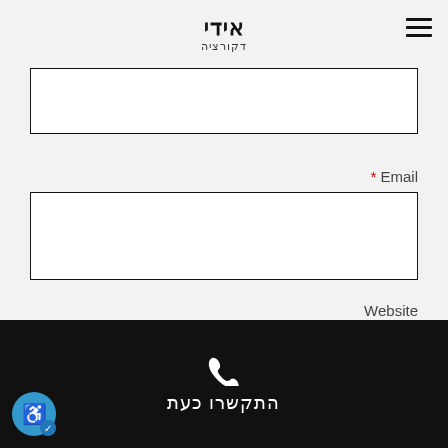אידי דקורציה
[Figure (screenshot): Partially visible form input field at top]
* Email
[Figure (screenshot): Email input field (empty white box)]
Website
[Figure (screenshot): Website input field (empty white box)]
התקשרו כעת